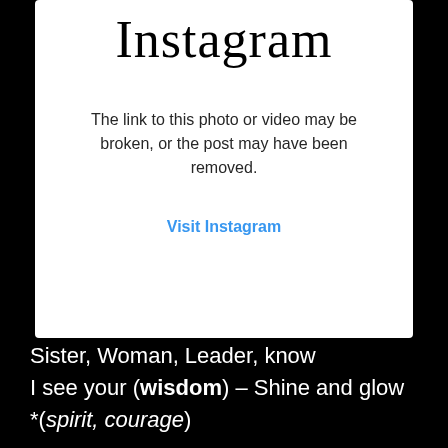Instagram
The link to this photo or video may be broken, or the post may have been removed.
Visit Instagram
Sister, Woman, Leader, know
I see your (wisdom) – Shine and glow
*(spirit, courage)